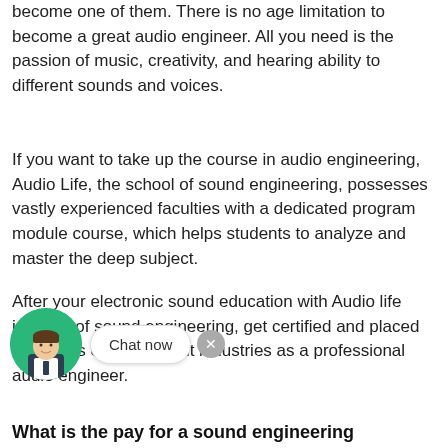become one of them. There is no age limitation to become a great audio engineer. All you need is the passion of music, creativity, and hearing ability to different sounds and voices.
If you want to take up the course in audio engineering, Audio Life, the school of sound engineering, possesses vastly experienced faculties with a dedicated program module course, which helps students to analyze and master the deep subject.
After your electronic sound education with Audio life institute of sound engineering, get certified and placed at various entertainment industries as a professional audio engineer.
What is the pay for a sound engineering